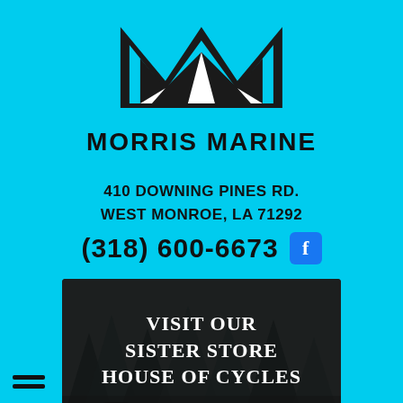[Figure (logo): Morris Marine logo: stylized M shape in black and white triangular forms]
MORRIS MARINE
410 DOWNING PINES RD.
WEST MONROE, LA 71292
(318) 600-6673
[Figure (photo): Dark forest/outdoor scene background with motorcycles, overlaid with text: VISIT OUR SISTER STORE HOUSE OF CYCLES]
VISIT OUR SISTER STORE HOUSE OF CYCLES